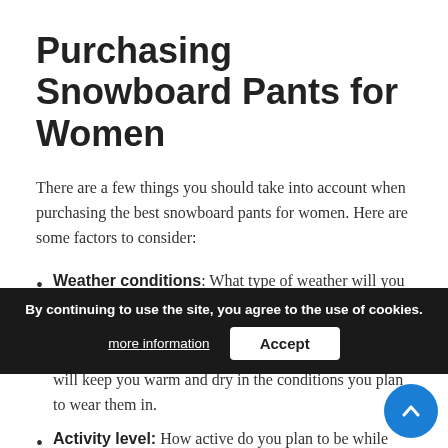Purchasing Snowboard Pants for Women
There are a few things you should take into account when purchasing the best snowboard pants for women. Here are some factors to consider:
Weather conditions: What type of weather will you be snowboarding in? Pants that work well in wet and snowy conditions might not be as effective in very cold temperatures. Make sure to choose a pair of pants that will keep you warm and dry in the conditions you plan to wear them in.
Activity level: How active do you plan to be while snowboarding? If you are planning on doing a lot of tricks...the...d pants that can withstand a lot of wear and tear. On the other hand, if you are just planning on cruising around